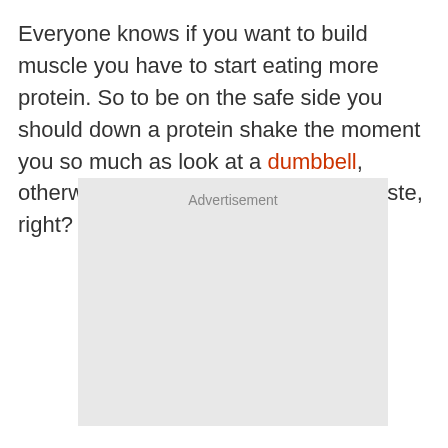Everyone knows if you want to build muscle you have to start eating more protein. So to be on the safe side you should down a protein shake the moment you so much as look at a dumbbell, otherwise all that training will go to waste, right?
[Figure (other): Advertisement placeholder box with light gray background and 'Advertisement' label at top center]